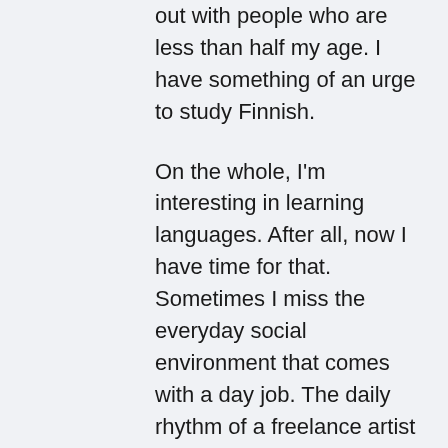out with people who are less than half my age. I have something of an urge to study Finnish.
On the whole, I'm interesting in learning languages. After all, now I have time for that. Sometimes I miss the everyday social environment that comes with a day job. The daily rhythm of a freelance artist is quite, well, free.
If I had to think of a day job for myself, then something that combines music and computers in some form or another is what I'd still like to do. Be it producing, making music for games or even planning study materials.
Really I dream of moving to Costa Rica. I'd